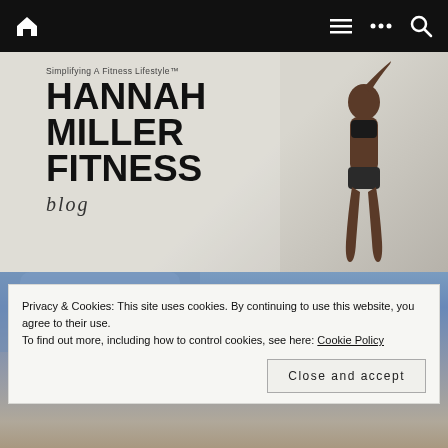Hannah Miller Fitness Blog — navigation bar with home, menu, more, and search icons
[Figure (logo): Hannah Miller Fitness blog logo banner with tagline 'Simplifying A Fitness Lifestyle™', large bold text 'HANNAH MILLER FITNESS', italic 'blog', and a fitness model on the right side]
[Figure (photo): Background photo of denim/clothing below the banner]
Privacy & Cookies: This site uses cookies. By continuing to use this website, you agree to their use.
To find out more, including how to control cookies, see here: Cookie Policy
Close and accept